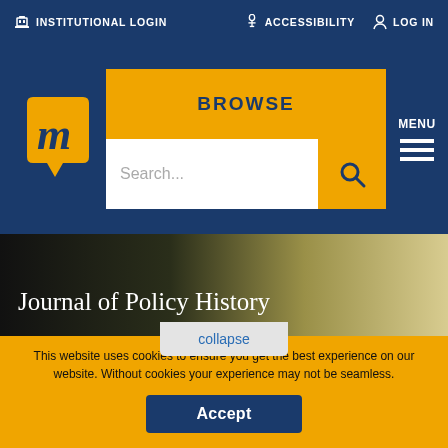INSTITUTIONAL LOGIN | ACCESSIBILITY | LOG IN
[Figure (logo): Muse project logo - yellow speech bubble with italic m]
BROWSE
Search...
MENU
Journal of Policy History
collapse
You are not currently authenticated.
If you would like to authenticate using a different subscribed institution or
This website uses cookies to ensure you get the best experience on our website. Without cookies your experience may not be seamless.
Accept